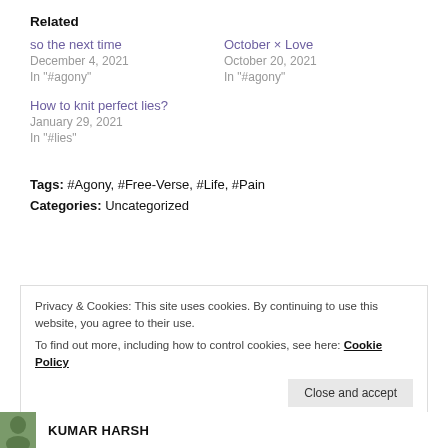Related
so the next time
December 4, 2021
In "#agony"
October × Love
October 20, 2021
In "#agony"
How to knit perfect lies?
January 29, 2021
In "#lies"
Tags: #Agony, #Free-Verse, #Life, #Pain
Categories: Uncategorized
Privacy & Cookies: This site uses cookies. By continuing to use this website, you agree to their use.
To find out more, including how to control cookies, see here: Cookie Policy
Close and accept
KUMAR HARSH